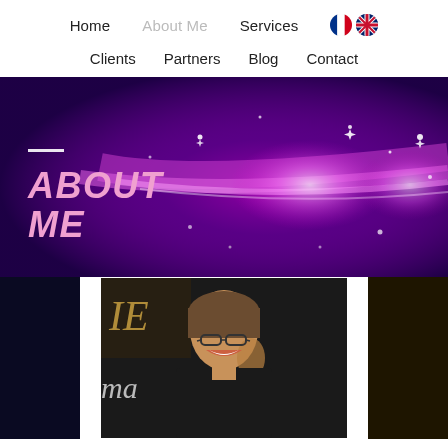Home  About Me  Services  🇫🇷 🇬🇧
Clients  Partners  Blog  Contact
[Figure (illustration): Hero banner with dark purple background, bright pink/magenta light streaks and sparkles, white horizontal line accent, and bold italic pink text reading ABOUT ME]
[Figure (photo): Woman with glasses smiling broadly, dark background with cursive text visible, photographed at an event]
Email